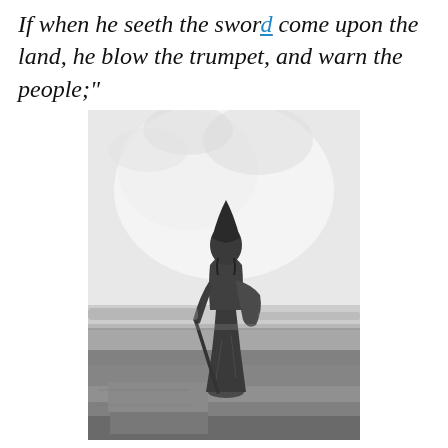If when he seeth the sword come upon the land, he blow the trumpet, and warn the people;"
[Figure (illustration): Black and white engraving of a robed biblical figure standing on stone steps, viewed from behind, looking out over a landscape. The figure wears a pointed headdress and holds a long staff, gazing across a wide open plain under a pale sky.]